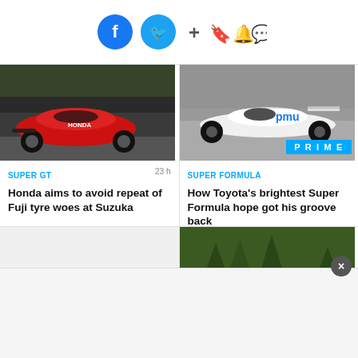[Figure (screenshot): Social media share bar with Facebook, Twitter, plus, bookmark, bell, and chat icons]
[Figure (photo): Red Honda Super GT racing car on track]
SUPER GT   23 h
Honda aims to avoid repeat of Fuji tyre woes at Suzuka
[Figure (photo): White Super Formula IndyCar-style racing car on track with PRIME badge]
SUPER FORMULA
How Toyota's brightest Super Formula hope got his groove back
[Figure (photo): Partial photo bottom left - person silhouette]
[Figure (photo): Partial photo bottom right - green forest/trees]
[Figure (screenshot): Advertisement overlay at bottom with close button]